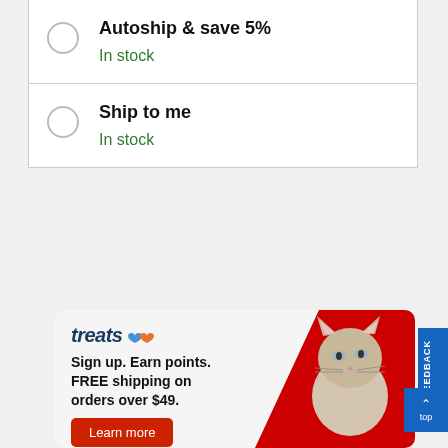Autoship & save 5% — In stock
Ship to me — In stock
[Figure (infographic): Treats loyalty program ad banner with cat photo, blue and red design. Text: treats (logo), Sign up. Earn points. FREE shipping on orders over $49. Learn more button.]
FEEDBACK
top